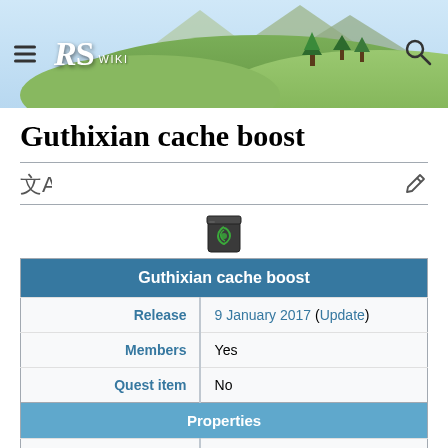RS Wiki
Guthixian cache boost
[Figure (illustration): Pixel art icon of Guthixian cache boost item — a dark container with a green Guthix symbol]
| Property | Value |
| --- | --- |
| Guthixian cache boost |  |
| Release | 9 January 2017 (Update) |
| Members | Yes |
| Quest item | No |
| Properties |  |
| Tradeable | No |